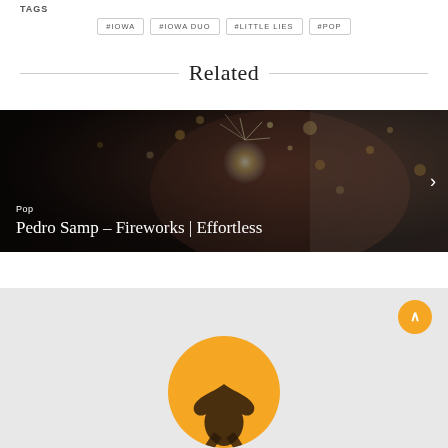TAGS
#IOWA
#IOWA DUO
#LITTLE LIES
#POP
Related
[Figure (photo): A woman with long silver/white hair holding a sparkler, dark moody background with golden bokeh lights. Overlaid text reads 'Pop' and 'Pedro Samp – Fireworks | Effortless']
[Figure (logo): Yellow circular logo with a dark bird/phoenix silhouette in the center, partially visible at the bottom of the page]